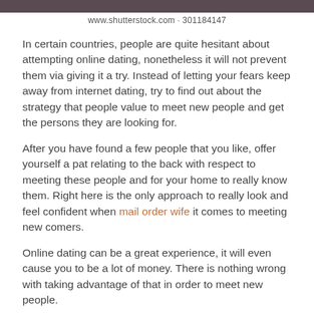www.shutterstock.com · 301184147
In certain countries, people are quite hesitant about attempting online dating, nonetheless it will not prevent them via giving it a try. Instead of letting your fears keep away from internet dating, try to find out about the strategy that people value to meet new people and get the persons they are looking for.
After you have found a few people that you like, offer yourself a pat relating to the back with respect to meeting these people and for your home to really know them. Right here is the only approach to really look and feel confident when mail order wife it comes to meeting new comers.
Online dating can be a great experience, it will even cause you to be a lot of money. There is nothing wrong with taking advantage of that in order to meet new people.